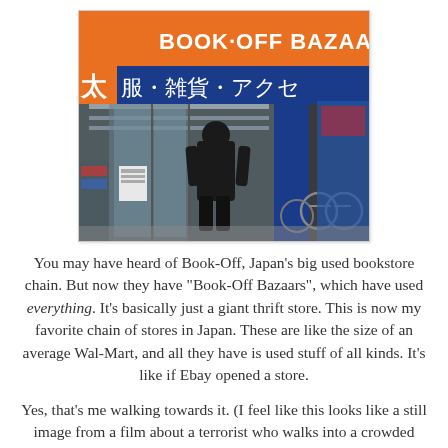[Figure (photo): Exterior of a Book-Off Bazaar store in Japan. A person in a dark jacket walks toward the entrance. The store has a large orange sign reading 'BOOK-OFF BAZAAR' and a blue sign with Japanese characters (服・雑貨・アクセ). Bicycles are visible on the right side. The interior shows fluorescent lighting and merchandise displays.]
You may have heard of Book-Off, Japan's big used bookstore chain. But now they have "Book-Off Bazaars", which have used everything. It's basically just a giant thrift store. This is now my favorite chain of stores in Japan. These are like the size of an average Wal-Mart, and all they have is used stuff of all kinds. It's like if Ebay opened a store.
Yes, that's me walking towards it. (I feel like this looks like a still image from a film about a terrorist who walks into a crowded store and mows everybody down with a machine